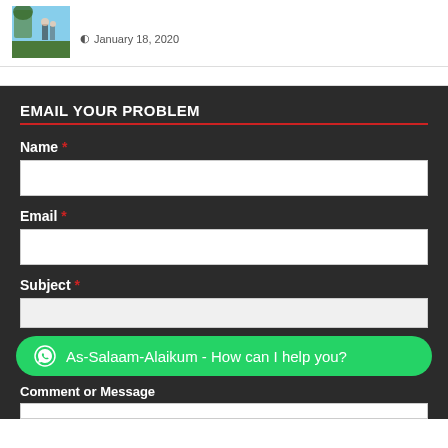[Figure (photo): Small thumbnail image showing a couple outdoors with a tree and blue sky background]
January 18, 2020
EMAIL YOUR PROBLEM
Name *
Email *
Subject *
As-Salaam-Alaikum - How can I help you?
Comment or Message